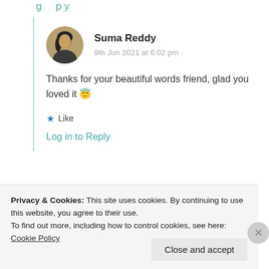Log in to Reply
[Figure (photo): Circular avatar photo of Suma Reddy, a woman with dark hair]
Suma Reddy
9th Jun 2021 at 6:02 pm
Thanks for your beautiful words friend, glad you loved it 😇
★ Like
Log in to Reply
Privacy & Cookies: This site uses cookies. By continuing to use this website, you agree to their use.
To find out more, including how to control cookies, see here: Cookie Policy
Close and accept